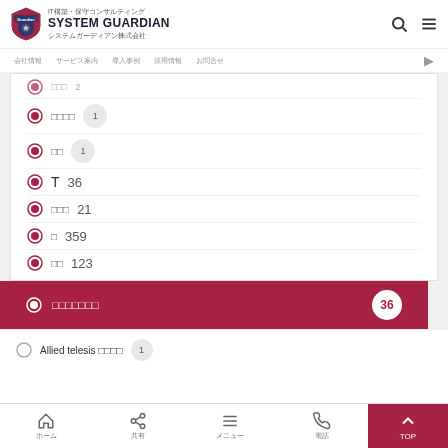[Figure (logo): System Guardian company logo with shield emblem and Japanese text IT構築・保守コンサルティング SYSTEM GUARDIAN システムガーディアン株式会社]
IT構築・保守コンサルティング SYSTEM GUARDIAN システムガーディアン株式会社
□□□□ 1
□□ 1
T 36
□□□ 21
□ 359
□□ 123
□□□□□□□ 36 (selected/active)
Allied telesis □□□□ 1
ホーム 共有 メニュー 電話 TOP